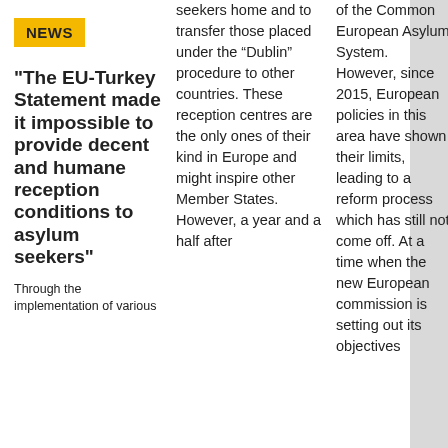NEWS
"The EU-Turkey Statement made it impossible to provide decent and humane reception conditions to asylum seekers"
Through the implementation of various
seekers home and to transfer those placed under the “Dublin” procedure to other countries. These reception centres are the only ones of their kind in Europe and might inspire other Member States. However, a year and a half after
of the Common European Asylum System. However, since 2015, European policies in this area have shown their limits, leading to a reform process which has still not come off. At a time when the new European commission is setting out its objectives